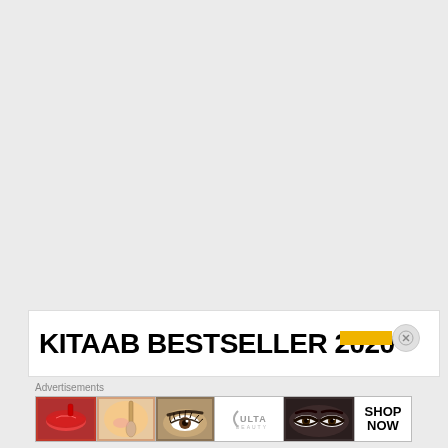[Figure (illustration): Light gray background area taking up top 70% of the page, empty content area]
KITAAB BESTSELLER 2020
Advertisements
[Figure (illustration): Advertisement banner for ULTA beauty showing close-up beauty photos: lips with lipstick, makeup brush, eye with eyebrow, ULTA logo, smoky eye makeup, and SHOP NOW call to action button]